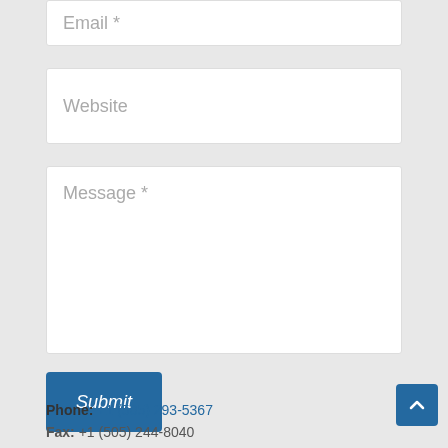Email *
Website
Message *
Submit
Phone: +1 (505) 293-5367
Fax: +1 (505) 244-8040